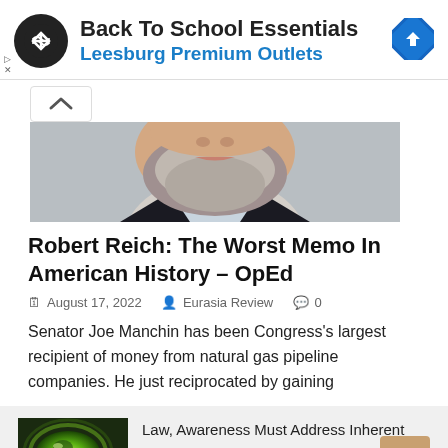[Figure (screenshot): Advertisement banner for Back To School Essentials at Leesburg Premium Outlets, with a circular logo and a blue direction arrow sign icon]
[Figure (photo): Close-up photo of a man's lower face showing a salt-and-pepper beard, wearing a dark suit jacket with a light shirt]
Robert Reich: The Worst Memo In American History – OpEd
August 17, 2022   Eurasia Review   0
Senator Joe Manchin has been Congress's largest recipient of money from natural gas pipeline companies. He just reciprocated by gaining
[Figure (photo): Thumbnail image of a glowing green Earth globe]
Law, Awareness Must Address Inherent